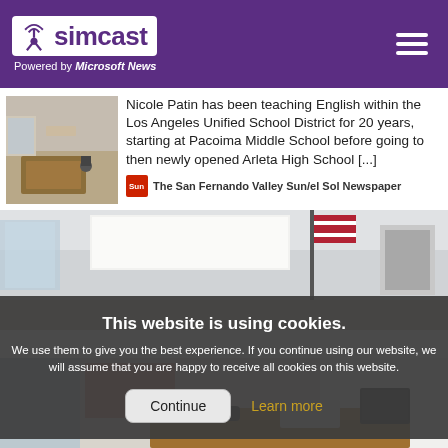simcast — Powered by Microsoft News
[Figure (screenshot): Thumbnail of empty classroom with teacher's desk]
Nicole Patin has been teaching English within the Los Angeles Unified School District for 20 years, starting at Pacoima Middle School before going to then newly opened Arleta High School [...]
The San Fernando Valley Sun/el Sol Newspaper
[Figure (photo): Empty classroom interior with American flag]
This website is using cookies. We use them to give you the best experience. If you continue using our website, we will assume that you are happy to receive all cookies on this website.
[Figure (photo): Empty classroom with teacher's desk and whiteboard at bottom of page]